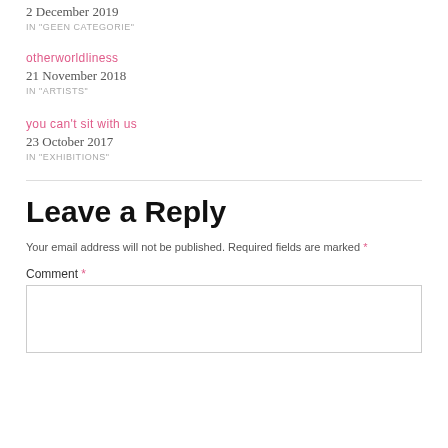2 December 2019
IN "GEEN CATEGORIE"
otherworldliness
21 November 2018
IN "ARTISTS"
you can't sit with us
23 October 2017
IN "EXHIBITIONS"
Leave a Reply
Your email address will not be published. Required fields are marked *
Comment *